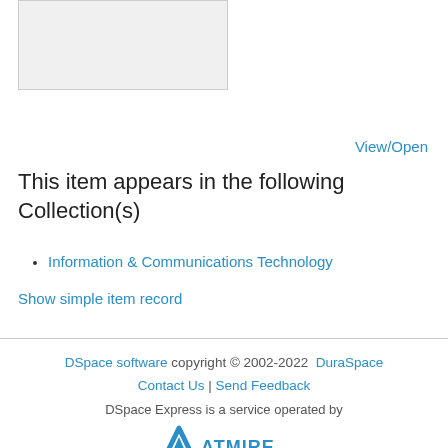[Figure (other): Thumbnail preview image placeholder (light gray box)]
View/Open
This item appears in the following Collection(s)
Information & Communications Technology
Show simple item record
DSpace software copyright © 2002-2022  DuraSpace
Contact Us | Send Feedback
DSpace Express is a service operated by [Atmire logo]